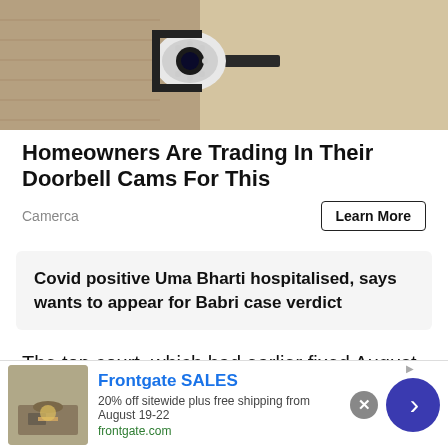[Figure (photo): Close-up photo of a security camera mounted on a wall bracket with lights, brick wall background]
Homeowners Are Trading In Their Doorbell Cams For This
Camerca
Learn More
Covid positive Uma Bharti hospitalised, says wants to appear for Babri case verdict
The top court, which had earlier fixed August 31 as the deadline for completion of proceedings including pronouncement of the verdict, took note of the report filed by special judge S K Yadav in the high-
[Figure (photo): Frontgate advertisement showing outdoor patio furniture with fire pit. Text: Frontgate SALES, 20% off sitewide plus free shipping from August 19-22, frontgate.com]